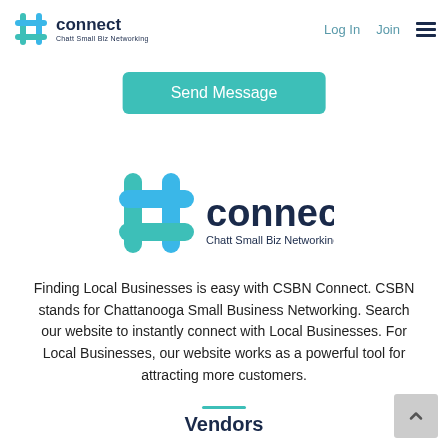connect - Chatt Small Biz Networking | Log In | Join
Send Message
[Figure (logo): CSBN Connect logo — teal hashtag/cross icon with 'connect' in dark navy and 'Chatt Small Biz Networking' subtitle]
Finding Local Businesses is easy with CSBN Connect. CSBN stands for Chattanooga Small Business Networking. Search our website to instantly connect with Local Businesses. For Local Businesses, our website works as a powerful tool for attracting more customers.
Vendors